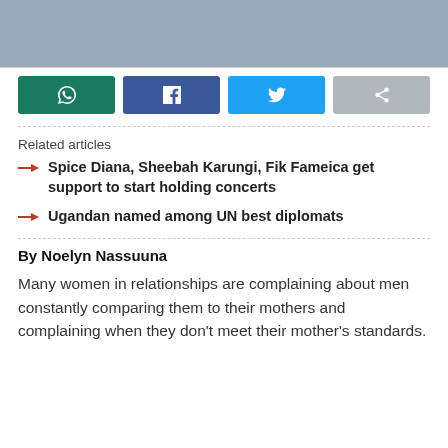[Figure (photo): Partial photo showing two people embracing, cropped at top of page]
[Figure (infographic): Social share buttons: WhatsApp (green), Facebook (dark blue), Twitter (light blue), Share (grey)]
Related articles
Spice Diana, Sheebah Karungi, Fik Fameica get support to start holding concerts
Ugandan named among UN best diplomats
By Noelyn Nassuuna
Many women in relationships are complaining about men constantly comparing them to their mothers and complaining when they don't meet their mother's standards.